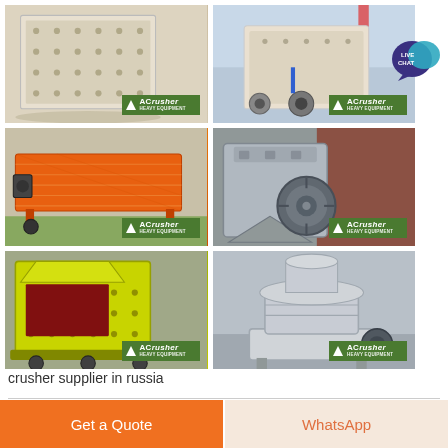[Figure (photo): Grid of 6 industrial crusher machinery photos with ACrusher branding badges. Top row: white impact crusher, white impact crusher in factory. Middle row: orange vibrating screen feeder, grey hammer crusher. Bottom row: yellow impact crusher, beige cone crusher.]
[Figure (infographic): Live Chat speech bubble icon in teal/dark blue with 'LIVE CHAT' text]
crusher supplier in russia
Get a Quote
WhatsApp